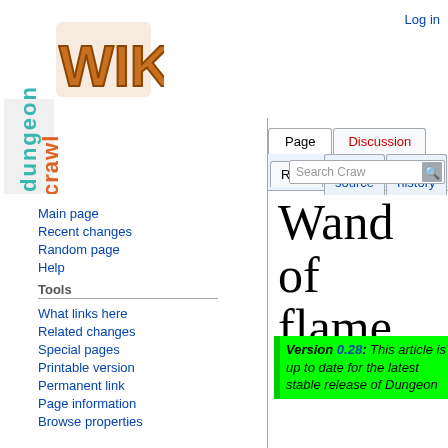Log in
[Figure (logo): Dungeon Crawl Stone Soup Wiki logo with stylized text 'dungeon crawl' vertically in teal/orange and 'WIKI' in orange block letters]
Page | Discussion | Read | View source | View history | Search Craw
Wand of flame
Main page
Recent changes
Random page
Help
Tools
What links here
Related changes
Special pages
Printable version
Permanent link
Page information
Browse properties
Version 0.28: This article is up to date for the latest stable release of Dungeon